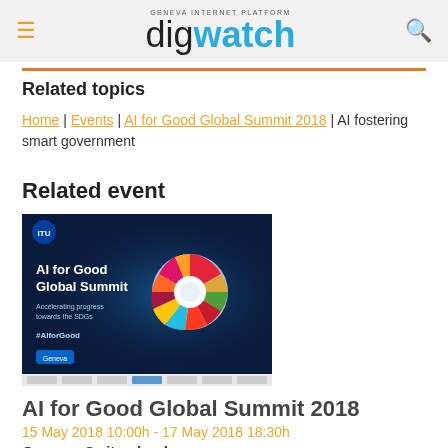digwatch — Geneva Internet Platform
Related topics
Home | Events | AI for Good Global Summit 2018 | AI fostering smart government
Related event
[Figure (photo): AI for Good Global Summit 2018 promotional image with colorful SDG wheel on dark blue background]
AI for Good Global Summit 2018
15 May 2018 10:00h - 17 May 2018 18:30h
Geneva, Switzerland